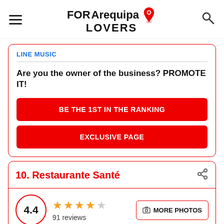FOR Arequipa LOVERS
LINE MUSIC
Are you the owner of the business? PROMOTE IT!
BE THE 1ST IN THE RANKING
EXCLUSIVE PAGE
10. Restaurante Santé
4.4  91 reviews
MORE PHOTOS